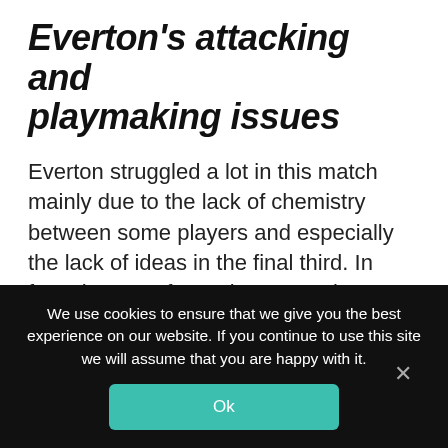Everton's attacking and playmaking issues
Everton struggled a lot in this match mainly due to the lack of chemistry between some players and especially the lack of ideas in the final third. In fact, the use of Bennison's as almost a right winger doesn't seem fruitful as the player plays naturally as a defensive or a central midfielder. Plus, Anvegård was deprived of the ball and isolated for most parts of the match since both wingers were distant from her and both Galli and Christiansen are not advanced playmakers
We use cookies to ensure that we give you the best experience on our website. If you continue to use this site we will assume that you are happy with it.
Ok